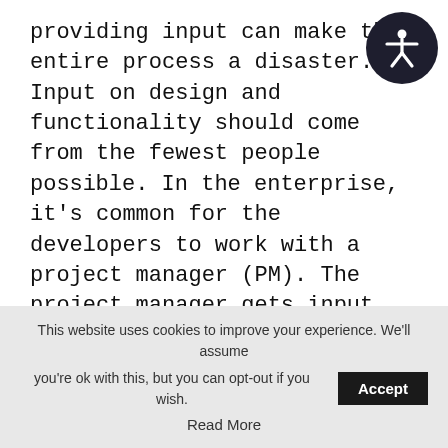providing input can make the entire process a disaster. Input on design and functionality should come from the fewest people possible. In the enterprise, it's common for the developers to work with a project manager (PM). The project manager gets input from various people interested in the app's success, and then the requests are condensed and edited for the developer.

It's common for managers from different departments to disagree on the way an app should work. It's then the executive's decision to determine the final outcome. Put yourself
[Figure (illustration): Dark circular accessibility icon with a white human figure in an outstretched/accessible pose, located in the upper right corner]
This website uses cookies to improve your experience. We'll assume you're ok with this, but you can opt-out if you wish. Accept Read More